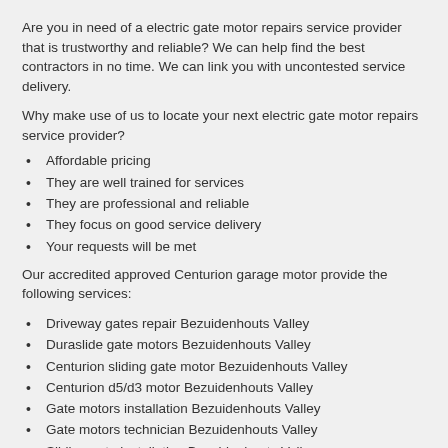Are you in need of a electric gate motor repairs service provider that is trustworthy and reliable? We can help find the best contractors in no time. We can link you with uncontested service delivery.
Why make use of us to locate your next electric gate motor repairs service provider?
Affordable pricing
They are well trained for services
They are professional and reliable
They focus on good service delivery
Your requests will be met
Our accredited approved Centurion garage motor provide the following services:
Driveway gates repair Bezuidenhouts Valley
Duraslide gate motors Bezuidenhouts Valley
Centurion sliding gate motor Bezuidenhouts Valley
Centurion d5/d3 motor Bezuidenhouts Valley
Gate motors installation Bezuidenhouts Valley
Gate motors technician Bezuidenhouts Valley
Sliding gate installation Bezuidenhouts Valley
Centurion gate motors prices Bezuidenhouts Valley
Centurion roller door motor Bezuidenhouts Valley
Centurion gate motors Bezuidenhouts Valley
Super 500 gate motor Bezuidenhouts Valley